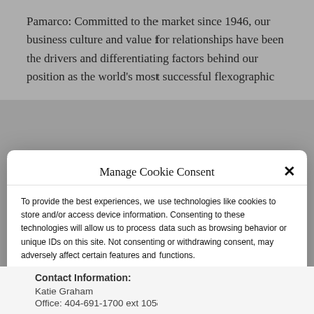Pamarco: Committed to the market since 1946, our business culture and value for relationships have been the drivers and differentiating factors behind our position as the world’s most successful flexographic
Manage Cookie Consent
To provide the best experiences, we use technologies like cookies to store and/or access device information. Consenting to these technologies will allow us to process data such as browsing behavior or unique IDs on this site. Not consenting or withdrawing consent, may adversely affect certain features and functions.
Accept
Opt-out preferences   Privacy Statement
Contact Information:
Katie Graham
Office: 404-691-1700 ext 105